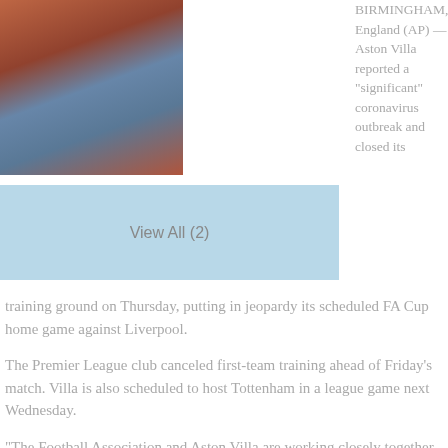[Figure (photo): Soccer match photo showing players in red and light blue kits on a red pitch]
[Figure (other): View All (2) button in light blue]
BIRMINGHAM, England (AP) — Aston Villa reported a "significant" coronavirus outbreak and closed its training ground on Thursday, putting in jeopardy its scheduled FA Cup home game against Liverpool.
The Premier League club canceled first-team training ahead of Friday's match. Villa is also scheduled to host Tottenham in a league game next Wednesday.
"The Football Association and Aston Villa are working closely together to try to ensure that the club's third round proper fixture with Liverpool can go ahead as planned at Villa Park tomorrow evening," the club said Thursday evening.